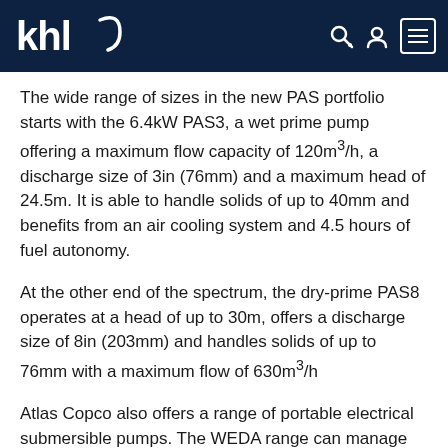khl [logo with navigation icons]
The wide range of sizes in the new PAS portfolio starts with the 6.4kW PAS3, a wet prime pump offering a maximum flow capacity of 120m³/h, a discharge size of 3in (76mm) and a maximum head of 24.5m. It is able to handle solids of up to 40mm and benefits from an air cooling system and 4.5 hours of fuel autonomy.
At the other end of the spectrum, the dry-prime PAS8 operates at a head of up to 30m, offers a discharge size of 8in (203mm) and handles solids of up to 76mm with a maximum flow of 630m³/h
Atlas Copco also offers a range of portable electrical submersible pumps. The WEDA range can manage flows from 225 to 16,500 litres per minute with a